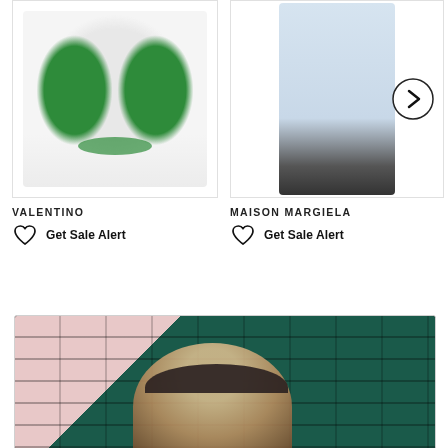[Figure (photo): Product photo of Valentino green fuzzy bag on white background]
VALENTINO
Get Sale Alert
[Figure (photo): Product photo of Maison Margiela light blue outfit on model, with right-arrow navigation button]
MAISON MARGIELA
Get Sale Alert
[Figure (photo): Fashion editorial photo of a woman wearing a black hat in front of dark teal brick wall]